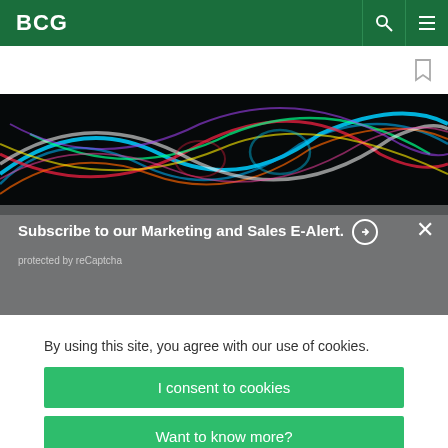BCG
[Figure (photo): Abstract neon light trails on dark background — colorful glowing curves in blue, red, green, yellow, white on black]
Subscribe to our Marketing and Sales E-Alert. →
protected by reCaptcha
By using this site, you agree with our use of cookies.
I consent to cookies
Want to know more?
Read our Cookie Policy